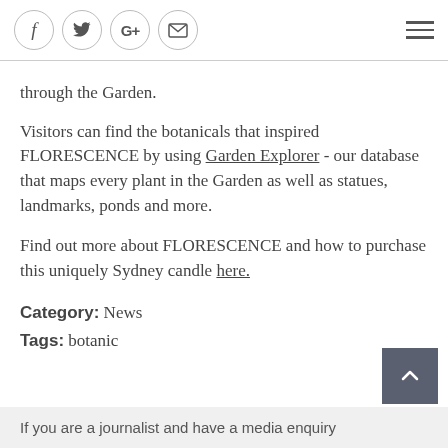Social share icons (Facebook, Twitter, Google+, Email) and hamburger menu
through the Garden.
Visitors can find the botanicals that inspired FLORESCENCE by using Garden Explorer - our database that maps every plant in the Garden as well as statues, landmarks, ponds and more.
Find out more about FLORESCENCE and how to purchase this uniquely Sydney candle here.
Category:  News
Tags:  botanic
If you are a journalist and have a media enquiry